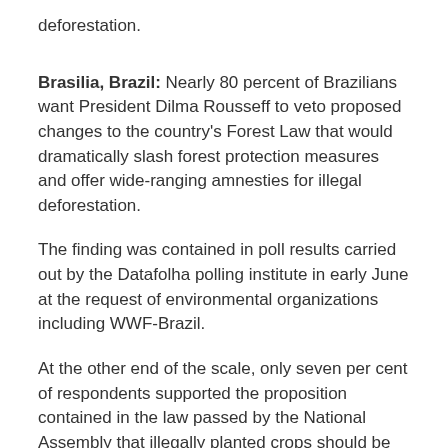deforestation.
Brasilia, Brazil: Nearly 80 percent of Brazilians want President Dilma Rousseff to veto proposed changes to the country's Forest Law that would dramatically slash forest protection measures and offer wide-ranging amnesties for illegal deforestation.
The finding was contained in poll results carried out by the Datafolha polling institute in early June at the request of environmental organizations including WWF-Brazil.
At the other end of the scale, only seven per cent of respondents supported the proposition contained in the law passed by the National Assembly that illegally planted crops should be allowed to remain in permanent protection areas beside watercourses and on steep slopes.